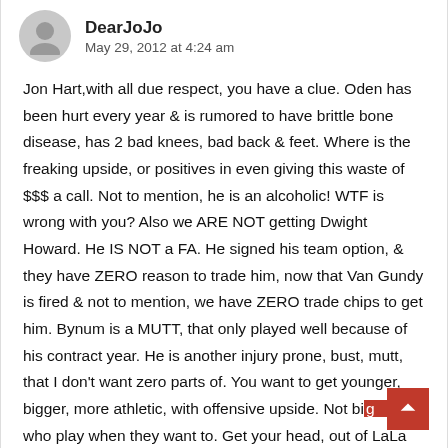DearJoJo — May 29, 2012 at 4:24 am
Jon Hart,with all due respect, you have a clue. Oden has been hurt every year & is rumored to have brittle bone disease, has 2 bad knees, bad back & feet. Where is the freaking upside, or positives in even giving this waste of $$$ a call. Not to mention, he is an alcoholic! WTF is wrong with you? Also we ARE NOT getting Dwight Howard. He IS NOT a FA. He signed his team option, & they have ZERO reason to trade him, now that Van Gundy is fired & not to mention, we have ZERO trade chips to get him. Bynum is a MUTT, that only played well because of his contract year. He is another injury prone, bust, mutt, that I don't want zero parts of. You want to get younger, bigger, more athletic, with offensive upside. Not big ngs, who play when they want to. Get your head, out of LaLa land.